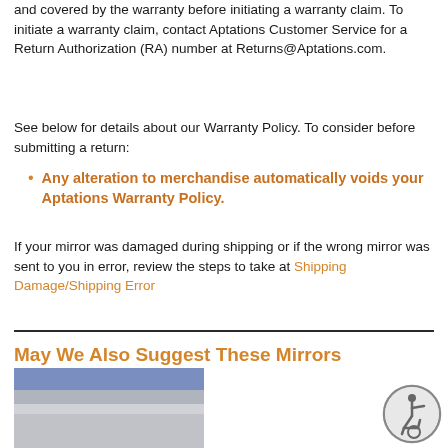and covered by the warranty before initiating a warranty claim. To initiate a warranty claim, contact Aptations Customer Service for a Return Authorization (RA) number at Returns@Aptations.com.
See below for details about our Warranty Policy. To consider before submitting a return:
Any alteration to merchandise automatically voids your Aptations Warranty Policy.
If your mirror was damaged during shipping or if the wrong mirror was sent to you in error, review the steps to take at Shipping Damage/Shipping Error
May We Also Suggest These Mirrors
[Figure (photo): Mirror product image thumbnail at bottom left]
[Figure (illustration): Accessibility/wheelchair icon circle at bottom right]